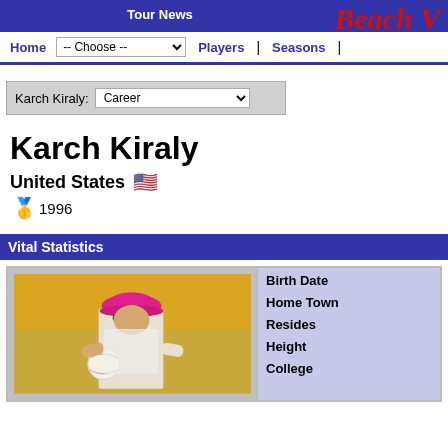Beach V [logo/branding]
Tour News
Home | -- Choose -- | Players | Seasons |
Karch Kiraly: Career
Karch Kiraly
United States 🇺🇸
🥇 1996
Vital Statistics
| (photo) | Birth Date | Home Town | Resides | Height | College |
| --- | --- | --- | --- | --- | --- |